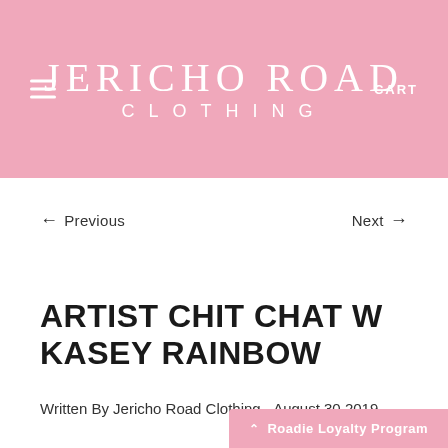JERICHO ROAD CLOTHING
← Previous     Next →
ARTIST CHIT CHAT W KASEY RAINBOW
Written By Jericho Road Clothing - August 30 2019
▲ Roadie Loyalty Program